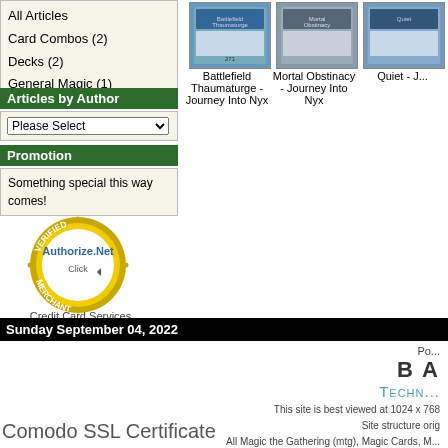All Articles
Card Combos (2)
Decks (2)
General Magic (1)
Articles by Author
Please Select
Promotion
Something special this way comes!
[Figure (logo): Authorize.Net Verified Merchant badge - gold circular seal with blue Authorize.Net logo and Click arrow]
Credit Card Services
[Figure (illustration): Magic card thumbnail - Battlefield Thaumaturge - Journey Into Nyx]
Battlefield Thaumaturge - Journey Into Nyx
[Figure (illustration): Magic card thumbnail - Mortal Obstinacy - Journey Into Nyx]
Mortal Obstinacy - Journey Into Nyx
[Figure (illustration): Magic card thumbnail - Quiet - Journey Into Nyx (partially visible)]
Quiet - J...
Sunday September 04, 2022
Po...
B A
TECH...
This site is best viewed at 1024 x 768
Site structure orig
All Magic the Gathering (mtg), Magic Cards, M...
Comodo SSL Certificate